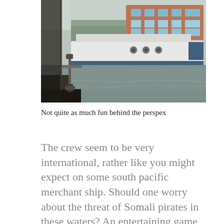[Figure (photo): View through a boat window showing a river scene with a large white vessel/houseboat moored on the opposite bank, and a modern red-brick building behind it. The interior of the boat is visible in the foreground with a window latch mechanism.]
Not quite as much fun behind the perspex
The crew seem to be very international, rather like you might expect on some south pacific merchant ship. Should one worry about the threat of Somali pirates in these waters? An entertaining game is to watch the deck hand lassoing a bollard